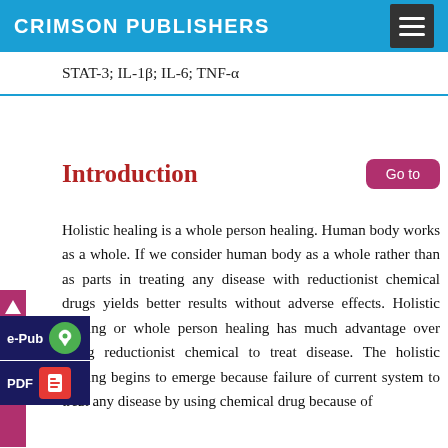CRIMSON PUBLISHERS
STAT-3; IL-1β; IL-6; TNF-α
Introduction
Holistic healing is a whole person healing. Human body works as a whole. If we consider human body as a whole rather than as parts in treating any disease with reductionist chemical drugs yields better results without adverse effects. Holistic healing or whole person healing has much advantage over using reductionist chemical to treat disease. The holistic healing begins to emerge because failure of current system to treat any disease by using chemical drug because of